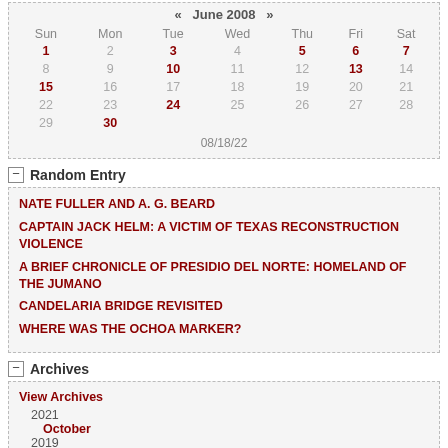| Sun | Mon | Tue | Wed | Thu | Fri | Sat |
| --- | --- | --- | --- | --- | --- | --- |
| 1 | 2 | 3 | 4 | 5 | 6 | 7 |
| 8 | 9 | 10 | 11 | 12 | 13 | 14 |
| 15 | 16 | 17 | 18 | 19 | 20 | 21 |
| 22 | 23 | 24 | 25 | 26 | 27 | 28 |
| 29 | 30 |  |  |  |  |  |
08/18/22
Random Entry
NATE FULLER AND A. G. BEARD
CAPTAIN JACK HELM: A VICTIM OF TEXAS RECONSTRUCTION VIOLENCE
A BRIEF CHRONICLE OF PRESIDIO DEL NORTE: HOMELAND OF THE JUMANO
CANDELARIA BRIDGE REVISITED
WHERE WAS THE OCHOA MARKER?
Archives
View Archives
2021
October
2019